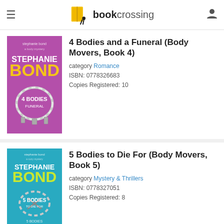bookcrossing
[Figure (illustration): Book cover for 4 Bodies and a Funeral (Body Movers, Book 4) by Stephanie Bond - purple cover with chain bracelet]
4 Bodies and a Funeral (Body Movers, Book 4)
category Romance
ISBN: 0778326683
Copies Registered: 10
[Figure (illustration): Book cover for 5 Bodies to Die For (Body Movers, Book 5) by Stephanie Bond - teal/cyan cover with chain and scissors]
5 Bodies to Die For (Body Movers, Book 5)
category Mystery & Thrillers
ISBN: 0778327051
Copies Registered: 8